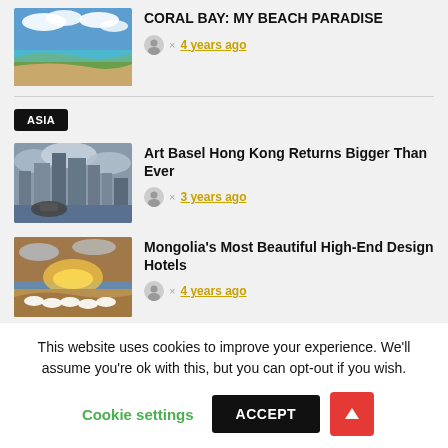[Figure (photo): Aerial view of Coral Bay beach with turquoise water and coastline]
CORAL BAY: MY BEACH PARADISE
4 years ago
ASIA
[Figure (photo): Hong Kong skyline with modern skyscrapers and a car or sculpture in foreground]
Art Basel Hong Kong Returns Bigger Than Ever
3 years ago
[Figure (photo): Desert landscape at sunset with white dome structures]
Mongolia's Most Beautiful High-End Design Hotels
4 years ago
This website uses cookies to improve your experience. We'll assume you're ok with this, but you can opt-out if you wish.